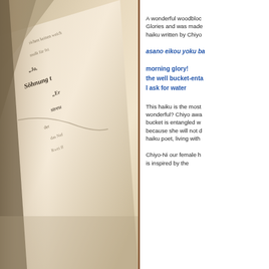[Figure (photo): Close-up photo of an aged book with German Gothic script text, showing words including 'Söhnung', 'Er', 'streu' and other Gothic lettering on yellowed pages, photographed at an angle with shallow depth of field.]
A wonderful woodblock... Glories and was made... haiku written by Chiyo...
asano eikou yoku ba...
morning glory!
the well bucket-enta...
I ask for water
This haiku is the most... wonderful? Chiyo awa... bucket is entangled w... because she will not d... haiku poet, living with...
Chiyo-Ni our female h... is inspired by the...